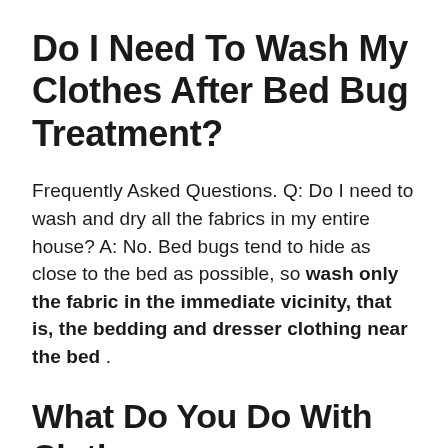Do I Need To Wash My Clothes After Bed Bug Treatment?
Frequently Asked Questions. Q: Do I need to wash and dry all the fabrics in my entire house? A: No. Bed bugs tend to hide as close to the bed as possible, so wash only the fabric in the immediate vicinity, that is, the bedding and dresser clothing near the bed .
What Do You Do With Clothes